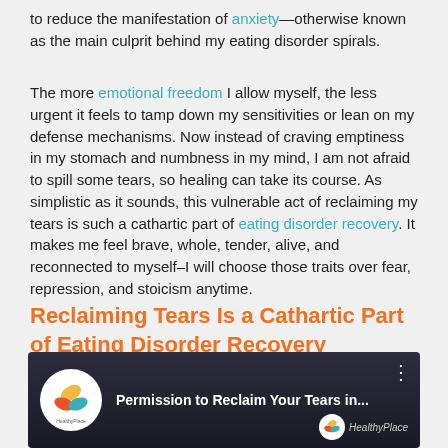to reduce the manifestation of anxiety—otherwise known as the main culprit behind my eating disorder spirals.
The more emotional freedom I allow myself, the less urgent it feels to tamp down my sensitivities or lean on my defense mechanisms. Now instead of craving emptiness in my stomach and numbness in my mind, I am not afraid to spill some tears, so healing can take its course. As simplistic as it sounds, this vulnerable act of reclaiming my tears is such a cathartic part of eating disorder recovery. It makes me feel brave, whole, tender, alive, and reconnected to myself–I will choose those traits over fear, repression, and stoicism anytime.
Reclaiming Tears Is a Cathartic Part of Eating Disorder Recovery
[Figure (screenshot): Video thumbnail showing HealthyPlace logo and title 'Permission to Reclaim Your Tears in...' with HealthyPlace watermark]